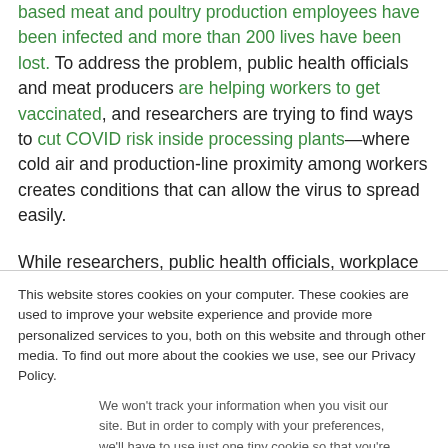based meat and poultry production employees have been infected and more than 200 lives have been lost. To address the problem, public health officials and meat producers are helping workers to get vaccinated, and researchers are trying to find ways to cut COVID risk inside processing plants—where cold air and production-line proximity among workers creates conditions that can allow the virus to spread easily.
While researchers, public health officials, workplace safety
This website stores cookies on your computer. These cookies are used to improve your website experience and provide more personalized services to you, both on this website and through other media. To find out more about the cookies we use, see our Privacy Policy.
We won't track your information when you visit our site. But in order to comply with your preferences, we'll have to use just one tiny cookie so that you're not asked to make this choice again.